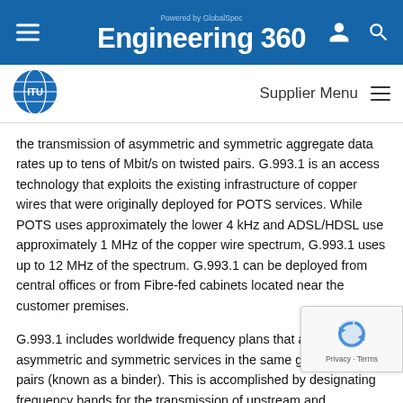Engineering 360 — Powered by GlobalSpec
[Figure (logo): ITU logo — circular globe with ITU text]
the transmission of asymmetric and symmetric aggregate data rates up to tens of Mbit/s on twisted pairs. G.993.1 is an access technology that exploits the existing infrastructure of copper wires that were originally deployed for POTS services. While POTS uses approximately the lower 4 kHz and ADSL/HDSL use approximately 1 MHz of the copper wire spectrum, G.993.1 uses up to 12 MHz of the spectrum. G.993.1 can be deployed from central offices or from Fibre-fed cabinets located near the customer premises.
G.993.1 includes worldwide frequency plans that allow asymmetric and symmetric services in the same group of wire pairs (known as a binder). This is accomplished by designating frequency bands for the transmission of upstream and downstream signals.
G.993.1 transceivers must overcome many types of ingress